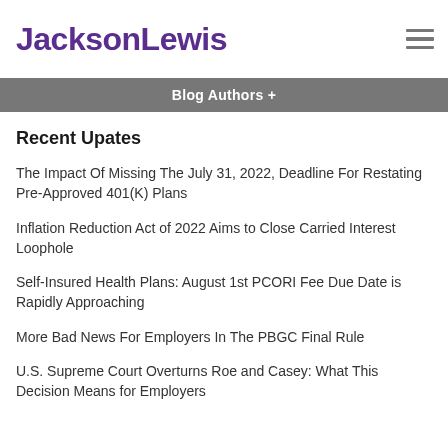JacksonLewis
Blog Authors +
Recent Upates
The Impact Of Missing The July 31, 2022, Deadline For Restating Pre-Approved 401(K) Plans
Inflation Reduction Act of 2022 Aims to Close Carried Interest Loophole
Self-Insured Health Plans: August 1st PCORI Fee Due Date is Rapidly Approaching
More Bad News For Employers In The PBGC Final Rule
U.S. Supreme Court Overturns Roe and Casey: What This Decision Means for Employers